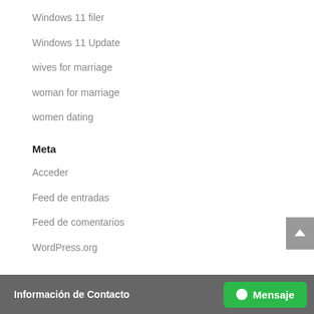Windows 11 filer
Windows 11 Update
wives for marriage
woman for marriage
women dating
Meta
Acceder
Feed de entradas
Feed de comentarios
WordPress.org
Información de Contacto  Mensaje